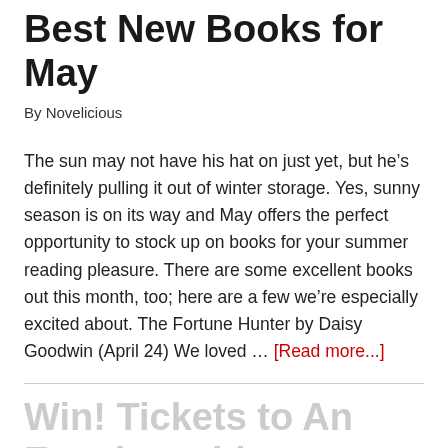Best New Books for May
By Novelicious
The sun may not have his hat on just yet, but he’s definitely pulling it out of winter storage. Yes, sunny season is on its way and May offers the perfect opportunity to stock up on books for your summer reading pleasure. There are some excellent books out this month, too; here are a few we’re especially excited about. The Fortune Hunter by Daisy Goodwin (April 24) We loved … [Read more...]
Win! Tickets to An Evening with Samanth